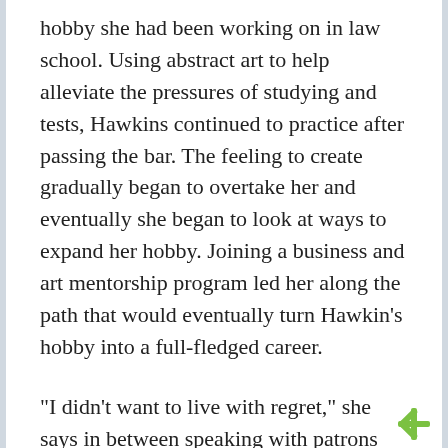hobby she had been working on in law school. Using abstract art to help alleviate the pressures of studying and tests, Hawkins continued to practice after passing the bar. The feeling to create gradually began to overtake her and eventually she began to look at ways to expand her hobby. Joining a business and art mentorship program led her along the path that would eventually turn Hawkin's hobby into a full-fledged career.
“I didn’t want to live with regret,” she says in between speaking with patrons perusing her work on the walls of the gallery. “I didn’t want to think that I could have pursued art but now I can’t because my professional life took me in a different direction. I want my child to look at this, and know that they inspired me, so much